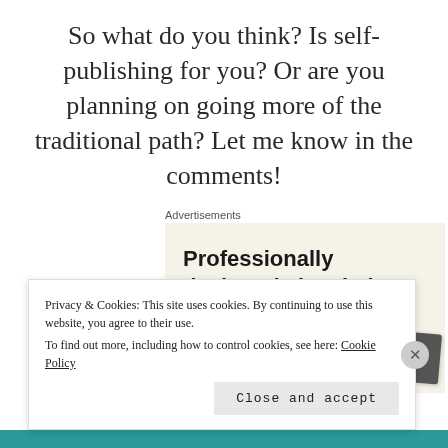So what do you think? Is self-publishing for you? Or are you planning on going more of the traditional path? Let me know in the comments!
Advertisements
[Figure (screenshot): Advertisement banner with text 'Professionally designed sites in less than a week' on a beige background with card/design mockup images]
Privacy & Cookies: This site uses cookies. By continuing to use this website, you agree to their use.
To find out more, including how to control cookies, see here: Cookie Policy
Close and accept